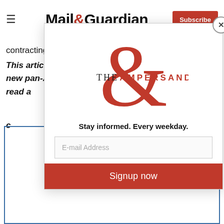Mail&Guardian | Subscribe
contracting Covid-19.
This article first appeared on The Continent, the new pan-African weekly newspaper designed to be read a... c...
[Figure (logo): The Ampersand logo — a large red ampersand symbol with THE AMPERSAND text in dark serif letters]
Stay informed. Every weekday.
E-mail Address
Signup now